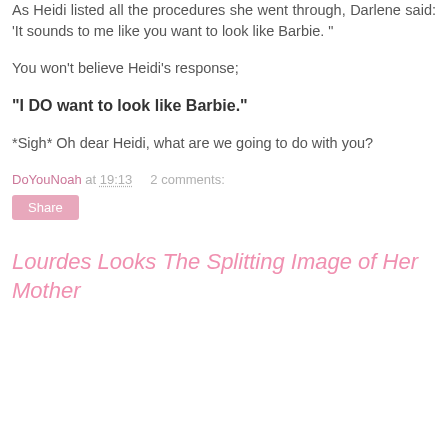As Heidi listed all the procedures she went through, Darlene said: 'It sounds to me like you want to look like Barbie. "
You won't believe Heidi's response;
"I DO want to look like Barbie."
*Sigh* Oh dear Heidi, what are we going to do with you?
DoYouNoah at 19:13    2 comments:
Lourdes Looks The Splitting Image of Her Mother